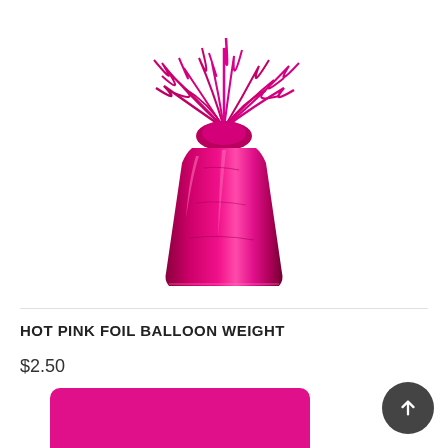[Figure (photo): Hot pink metallic foil balloon weight with frilly ribbons on top, shaped like a squat vase/cup, reflective magenta/hot pink color]
HOT PINK FOIL BALLOON WEIGHT
$2.50
[Figure (photo): Hot pink rectangular plastic tray or container, partially visible at the bottom of the page]